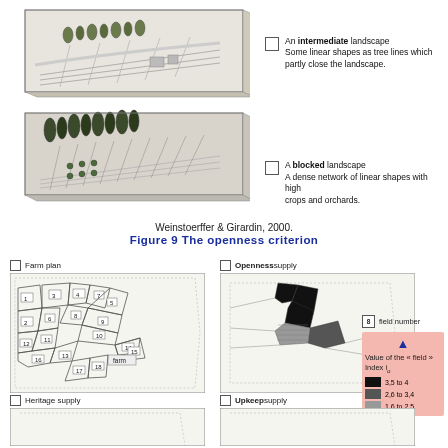[Figure (illustration): Two 3D landscape block diagrams. Top: intermediate landscape with linear tree lines partly closing the landscape. Bottom: blocked landscape with dense network of linear shapes with high crops and orchards. Each has a legend box and description text.]
Weinstoerffer & Girardin, 2000.
Figure 9 The openness criterion
[Figure (illustration): Four map panels showing Farm plan, Openness supply, Heritage supply, and Upkeep supply with field polygons numbered 1-18 and shading indicating index values. Legend shows field number symbol and value ranges: 3.5 to 4 (black), 2.6 to 3.4 (dark gray), 1.6 to 2.5 (medium gray).]